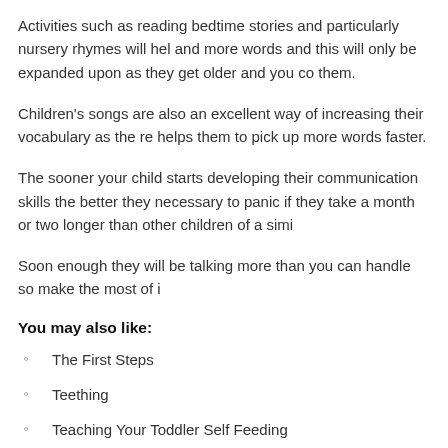Activities such as reading bedtime stories and particularly nursery rhymes will help and more words and this will only be expanded upon as they get older and you co them.
Children's songs are also an excellent way of increasing their vocabulary as the re helps them to pick up more words faster.
The sooner your child starts developing their communication skills the better they necessary to panic if they take a month or two longer than other children of a simi
Soon enough they will be talking more than you can handle so make the most of i
You may also like:
The First Steps
Teething
Teaching Your Toddler Self Feeding
Supplementing With Formula
Administering Medications